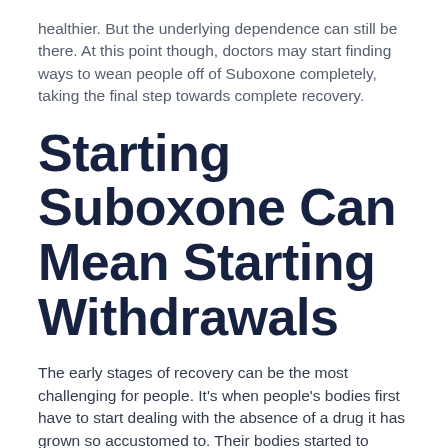healthier. But the underlying dependence can still be there. At this point though, doctors may start finding ways to wean people off of Suboxone completely, taking the final step towards complete recovery.
Starting Suboxone Can Mean Starting Withdrawals
The early stages of recovery can be the most challenging for people. It's when people's bodies first have to start dealing with the absence of a drug it has grown so accustomed to. Their bodies started to